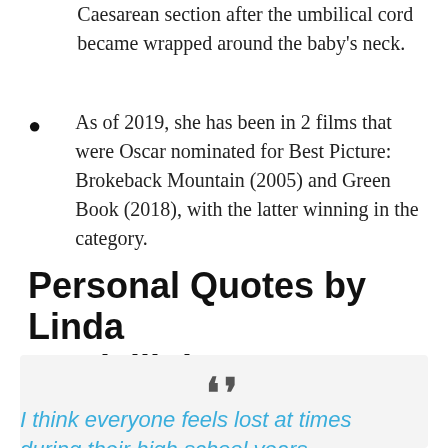Caesarean section after the umbilical cord became wrapped around the baby's neck.
As of 2019, she has been in 2 films that were Oscar nominated for Best Picture: Brokeback Mountain (2005) and Green Book (2018), with the latter winning in the category.
Personal Quotes by Linda Cardellini
I think everyone feels lost at times during their high school years